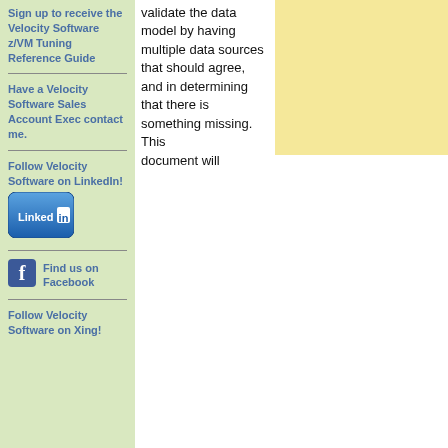validate the data model by having multiple data sources that should agree, and in determining that there is something missing. This document will
[Figure (other): Yellow/cream background decorative panel on right side]
Sign up to receive the Velocity Software z/VM Tuning Reference Guide
Have a Velocity Software Sales Account Exec contact me.
Follow Velocity Software on LinkedIn!
[Figure (logo): LinkedIn blue rounded square button logo with 'Linked in' text and white 'in' badge]
[Figure (logo): Facebook blue square icon with white 'f']
Find us on Facebook
Follow Velocity Software on Xing!